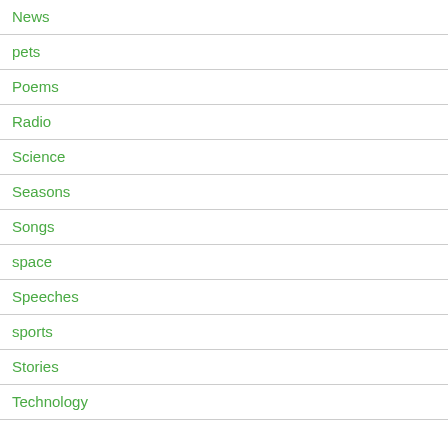News
pets
Poems
Radio
Science
Seasons
Songs
space
Speeches
sports
Stories
Technology